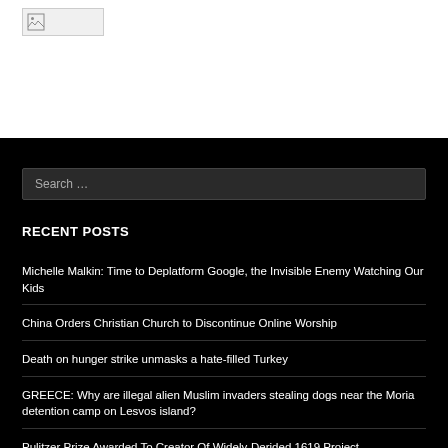[Figure (other): Broken image placeholder in top white section]
Search …
RECENT POSTS
Michelle Malkin: Time to Deplatform Google, the Invisible Enemy Watching Our Kids
China Orders Christian Church to Discontinue Online Worship
Death on hunger strike unmasks a hate-filled Turkey
GREECE: Why are illegal alien Muslim invaders stealing dogs near the Moria detention camp on Lesvos island?
Pulitzer Prize Awarded To Creator Of Widely-Derided 1619 Project